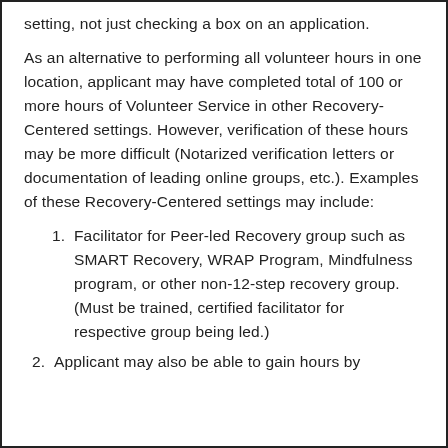setting, not just checking a box on an application.
As an alternative to performing all volunteer hours in one location, applicant may have completed total of 100 or more hours of Volunteer Service in other Recovery-Centered settings. However, verification of these hours may be more difficult (Notarized verification letters or documentation of leading online groups, etc.). Examples of these Recovery-Centered settings may include:
1. Facilitator for Peer-led Recovery group such as SMART Recovery, WRAP Program, Mindfulness program, or other non-12-step recovery group. (Must be trained, certified facilitator for respective group being led.)
2. Applicant may also be able to gain hours by